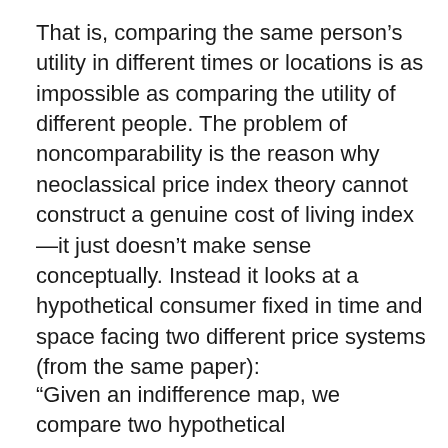That is, comparing the same person's utility in different times or locations is as impossible as comparing the utility of different people. The problem of noncomparability is the reason why neoclassical price index theory cannot construct a genuine cost of living index—it just doesn't make sense conceptually. Instead it looks at a hypothetical consumer fixed in time and space facing two different price systems (from the same paper):
“Given an indifference map, we compare two hypothetical